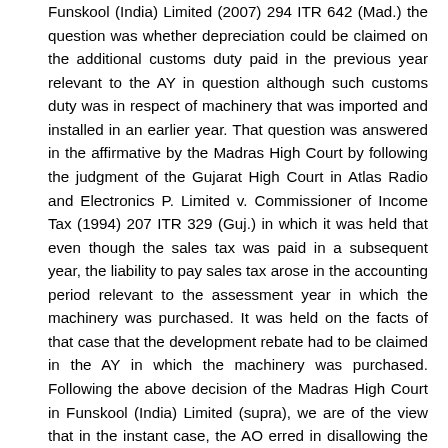Funskool (India) Limited (2007) 294 ITR 642 (Mad.) the question was whether depreciation could be claimed on the additional customs duty paid in the previous year relevant to the AY in question although such customs duty was in respect of machinery that was imported and installed in an earlier year. That question was answered in the affirmative by the Madras High Court by following the judgment of the Gujarat High Court in Atlas Radio and Electronics P. Limited v. Commissioner of Income Tax (1994) 207 ITR 329 (Guj.) in which it was held that even though the sales tax was paid in a subsequent year, the liability to pay sales tax arose in the accounting period relevant to the assessment year in which the machinery was purchased. It was held on the facts of that case that the development rebate had to be claimed in the AY in which the machinery was purchased. Following the above decision of the Madras High Court in Funskool (India) Limited (supra), we are of the view that in the instant case, the AO erred in disallowing the capitalisation of the additional customs duty in the manner claimed by the Assessee and adding the entire customs duty paid in the relevant AY to the income of the Assessee. The impugned order of the ITAT affirming the decision of the CIT(A) that the enhanced cost of equipment should be taken into consideration from AY 2005-06 onwards and that the WDV should be reworked for the AY in question does not